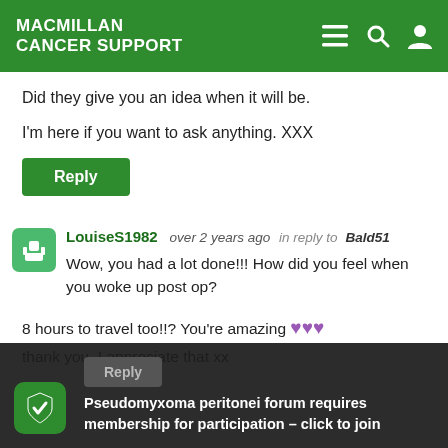[Figure (logo): Macmillan Cancer Support logo in white on green header bar with hamburger menu, search, and user icons]
Did they give you an idea when it will be.
I'm here if you want to ask anything. XXX
Reply
LouiseS1982   over 2 years ago  in reply to  Bald51
Wow, you had a lot done!!! How did you feel when you woke up post op?
8 hours to travel too!!? You're amazing 💜💜💜
thank you, I appreciate that xx
Pseudomyxoma peritonei forum requires membership for participation – click to join